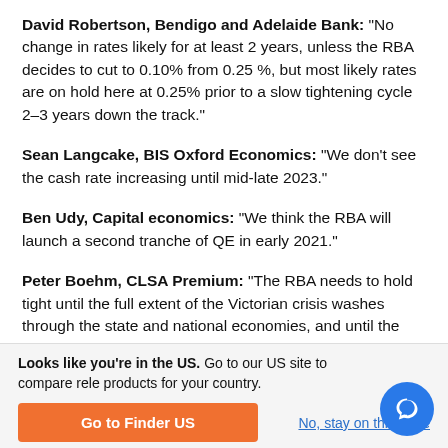David Robertson, Bendigo and Adelaide Bank: "No change in rates likely for at least 2 years, unless the RBA decides to cut to 0.10% from 0.25 %, but most likely rates are on hold here at 0.25% prior to a slow tightening cycle 2–3 years down the track."
Sean Langcake, BIS Oxford Economics: "We don't see the cash rate increasing until mid-late 2023."
Ben Udy, Capital economics: "We think the RBA will launch a second tranche of QE in early 2021."
Peter Boehm, CLSA Premium: "The RBA needs to hold tight until the full extent of the Victorian crisis washes through the state and national economies, and until the impact of the withdrawal of federal
Looks like you're in the US. Go to our US site to compare rele products for your country.
Go to Finder US
No, stay on this page